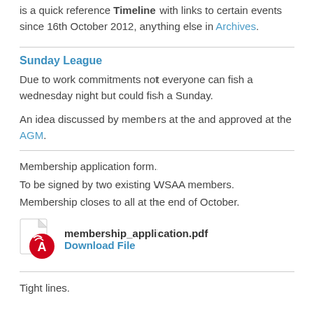is a quick reference Timeline with links to certain events since 16th October 2012, anything else in Archives.
Sunday League
Due to work commitments not everyone can fish a wednesday night but could fish a Sunday.
An idea discussed by members at the and approved at the AGM.
Membership application form.
To be signed by two existing WSAA members.
Membership closes to all at the end of October.
[Figure (other): PDF file icon for membership_application.pdf with Download File link]
Tight lines.